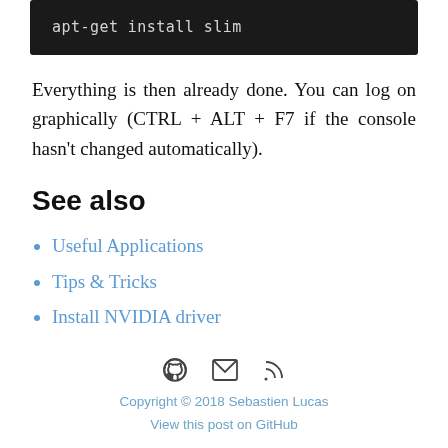apt-get install slim
Everything is then already done. You can log on graphically (CTRL + ALT + F7 if the console hasn't changed automatically).
See also
Useful Applications
Tips & Tricks
Install NVIDIA driver
Copyright © 2018 Sebastien Lucas
View this post on GitHub